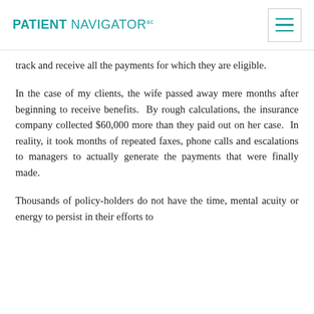PATIENT NAVIGATOR ac
track and receive all the payments for which they are eligible.
In the case of my clients, the wife passed away mere months after beginning to receive benefits. By rough calculations, the insurance company collected $60,000 more than they paid out on her case. In reality, it took months of repeated faxes, phone calls and escalations to managers to actually generate the payments that were finally made.
Thousands of policy-holders do not have the time, mental acuity or energy to persist in their efforts to